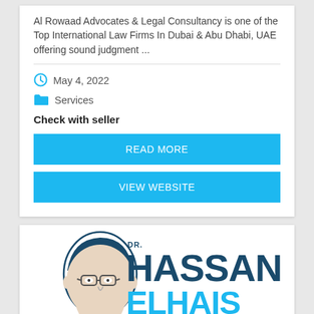Al Rowaad Advocates & Legal Consultancy is one of the Top International Law Firms In Dubai & Abu Dhabi, UAE offering sound judgment ...
May 4, 2022
Services
Check with seller
READ MORE
VIEW WEBSITE
[Figure (logo): Dr. Hassan Elhais logo with stylized portrait illustration and bold dark blue and light blue text]